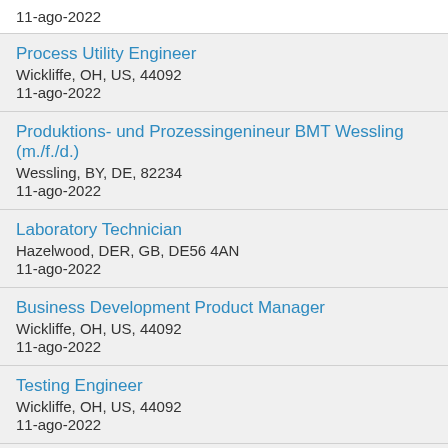11-ago-2022
Process Utility Engineer
Wickliffe, OH, US, 44092
11-ago-2022
Produktions- und Prozessingenineur BMT Wessling (m./f./d.)
Wessling, BY, DE, 82234
11-ago-2022
Laboratory Technician
Hazelwood, DER, GB, DE56 4AN
11-ago-2022
Business Development Product Manager
Wickliffe, OH, US, 44092
11-ago-2022
Testing Engineer
Wickliffe, OH, US, 44092
11-ago-2022
Field Test Engineer
Wickliffe, OH, US, 44092